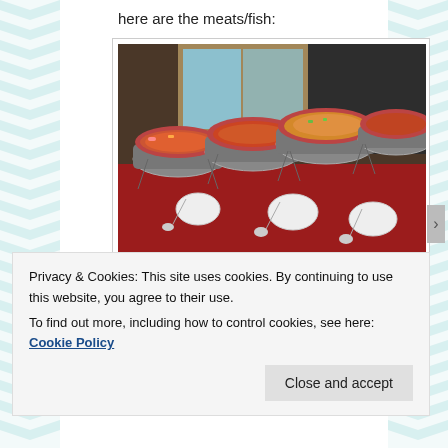here are the meats/fish:
[Figure (photo): Buffet table with four large chafing dishes containing various meat and fish dishes, displayed on a red tablecloth with serving spoons and plates]
[Figure (photo): Partial view of a red smartphone or device with media playback controls visible]
Privacy & Cookies: This site uses cookies. By continuing to use this website, you agree to their use.
To find out more, including how to control cookies, see here: Cookie Policy
Close and accept